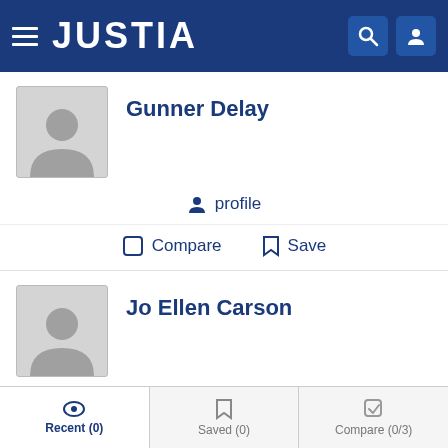JUSTIA
Gunner Delay
profile
Compare   Save
Jo Ellen Carson
profile
Compare   Save
Recent (0)   Saved (0)   Compare (0/3)